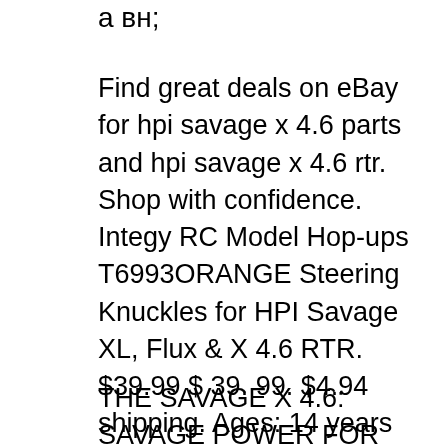а вн;
Find great deals on eBay for hpi savage x 4.6 parts and hpi savage x 4.6 rtr. Shop with confidence. Integy RC Model Hop-ups T6993ORANGE Steering Knuckles for HPI Savage XL, Flux & X 4.6 RTR. $39.99 $ 39. 99. $4.94 shipping. Ages: 14 years and up. Hobbypark 6PCS 70117 Glow Plug #4 N4 Spark Medium Hot Nitro Engine Parts for Traxxas Redcat HPI HSP 1/8 1/10 RC Car Truck Buggy. 4.3 out of 5 stars 17. $23.98 $ 23. 98. Get it as soon as Tue, Feb 18.
THE SAVAGE X 4.6: SAVAGE POWER FOR SAVAGE FUN! We're celebrating the